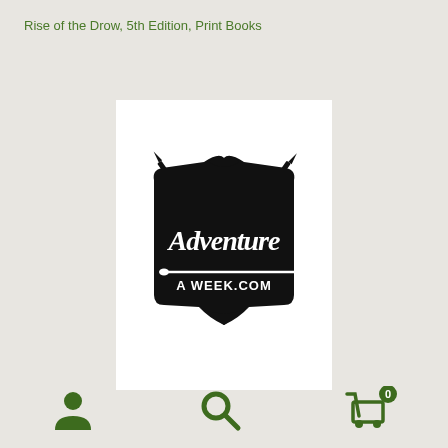Rise of the Drow, 5th Edition, Print Books
[Figure (logo): Adventure A Week .com logo: black shield-shaped plaque with crossed swords behind it, ornate white gothic-style lettering reading 'Adventure' and below a sword graphic with text 'A WEEK.COM']
[Figure (infographic): Bottom navigation icons: person/user icon on left (dark green), magnifying glass/search icon in center (dark green), shopping cart icon with badge showing '0' on right (dark green)]